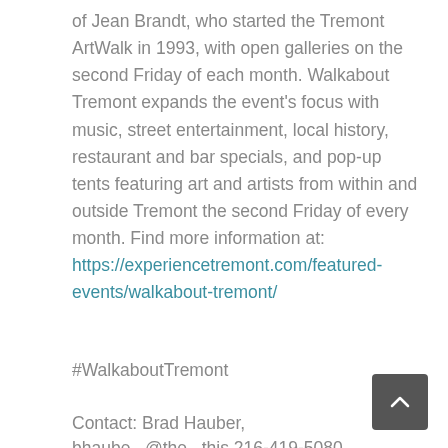of Jean Brandt, who started the Tremont ArtWalk in 1993, with open galleries on the second Friday of each month. Walkabout Tremont expands the event's focus with music, street entertainment, local history, restaurant and bar specials, and pop-up tents featuring art and artists from within and outside Tremont the second Friday of every month. Find more information at: https://experiencetremont.com/featured-events/walkabout-tremont/
#WalkaboutTremont
Contact: Brad Hauber,
bhaube...@the...this 216-419-5080